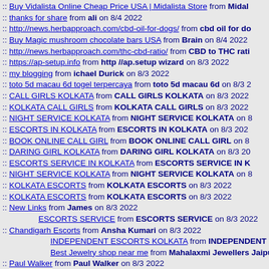:: Buy Vidalista Online Cheap Price USA | Midalista Store from Midal...
:: thanks for share from ali on 8/4 2022
:: http://news.herbapproach.com/cbd-oil-for-dogs/ from cbd oil for do...
:: Buy Magic mushroom chocolate bars USA from Brain on 8/4 2022
:: http://news.herbapproach.com/thc-cbd-ratio/ from CBD to THC rati...
:: https://ap-setup.info from http //ap.setup wizard on 8/3 2022
:: my blogging from ichael Durick on 8/3 2022
:: toto 5d macau 6d togel terpercaya from toto 5d macau 6d on 8/3 2...
:: CALL GIRLS KOLKATA from CALL GIRLS KOLKATA on 8/3 2022
:: KOLKATA CALL GIRLS from KOLKATA CALL GIRLS on 8/3 2022
:: NIGHT SERVICE KOLKATA from NIGHT SERVICE KOLKATA on 8/...
:: ESCORTS IN KOLKATA from ESCORTS IN KOLKATA on 8/3 2022...
:: BOOK ONLINE CALL GIRL from BOOK ONLINE CALL GIRL on 8/...
:: DARING GIRL KOLKATA from DARING GIRL KOLKATA on 8/3 20...
:: ESCORTS SERVICE IN KOLKATA from ESCORTS SERVICE IN K...
:: NIGHT SERVICE KOLKATA from NIGHT SERVICE KOLKATA on 8/...
:: KOLKATA ESCORTS from KOLKATA ESCORTS on 8/3 2022
:: KOLKATA ESCORTS from KOLKATA ESCORTS on 8/3 2022
:: New Links from James on 8/3 2022
ESCORTS SERVICE from ESCORTS SERVICE on 8/3 2022
:: Chandigarh Escorts from Ansha Kumari on 8/3 2022
INDEPENDENT ESCORTS KOLKATA from INDEPENDENT ES...
Best Jewelry shop near me from Mahalaxmi Jewellers Jaipu...
:: Paul Walker from Paul Walker on 8/3 2022
:: Dominic from Dominic on 8/3 2022
:: Jodan from Jodan on 8/3 2022
:: James from James on 8/3 2022
:: Harold from Harold on 8/3 2022
:: Henry from Henry on 8/3 2022
:: Alexa from Alexa on 8/3 2022
:: Marthe from Marthe on 8/3 2022...